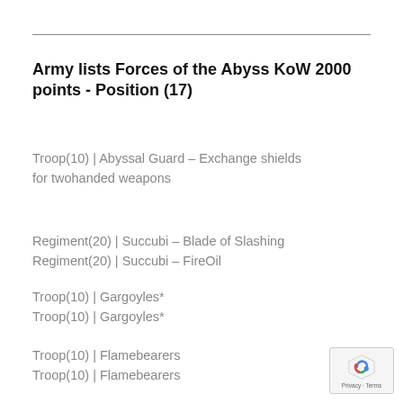Army lists Forces of the Abyss KoW 2000 points - Position (17)
Troop(10) | Abyssal Guard – Exchange shields for twohanded weapons
Regiment(20) | Succubi – Blade of Slashing
Regiment(20) | Succubi – FireOil
Troop(10) | Gargoyles*
Troop(10) | Gargoyles*
Troop(10) | Flamebearers
Troop(10) | Flamebearers